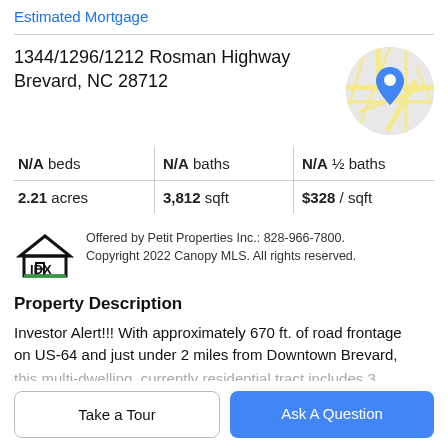Estimated Mortgage
1344/1296/1212 Rosman Highway
Brevard, NC 28712
[Figure (map): Circular map thumbnail showing street map with blue location pin marker]
| N/A beds | N/A baths | N/A ½ baths |
| 2.21 acres | 3,812 sqft | $328 / sqft |
[Figure (logo): IDX logo showing a house icon with IDX text]
Offered by Petit Properties Inc.: 828-966-7800. Copyright 2022 Canopy MLS. All rights reserved.
Property Description
Investor Alert!!! With approximately 670 ft. of road frontage on US-64 and just under 2 miles from Downtown Brevard,
this multi-dwelling, currently residential tract includes 3
Take a Tour
Ask A Question